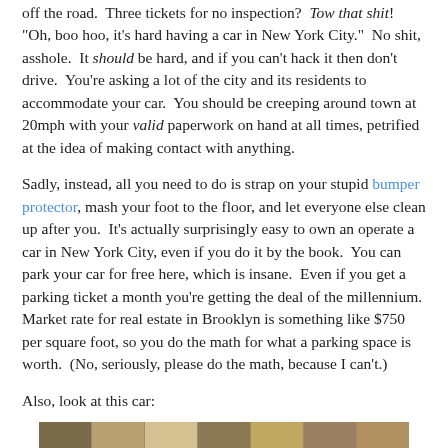off the road.  Three tickets for no inspection?  Tow that shit!  "Oh, boo hoo, it's hard having a car in New York City."  No shit, asshole.  It should be hard, and if you can't hack it then don't drive.  You're asking a lot of the city and its residents to accommodate your car.  You should be creeping around town at 20mph with your valid paperwork on hand at all times, petrified at the idea of making contact with anything.
Sadly, instead, all you need to do is strap on your stupid bumper protector, mash your foot to the floor, and let everyone else clean up after you.  It's actually surprisingly easy to own an operate a car in New York City, even if you do it by the book.  You can park your car for free here, which is insane.  Even if you get a parking ticket a month you're getting the deal of the millennium.  Market rate for real estate in Brooklyn is something like $750 per square foot, so you do the math for what a parking space is worth.  (No, seriously, please do the math, because I can't.)
Also, look at this car:
[Figure (photo): A partial image of a car, showing a strip of what appears to be a car exterior with multiple color segments visible at the bottom of the page.]